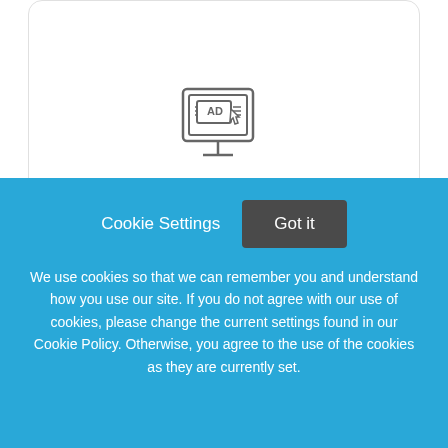[Figure (illustration): Icon of a computer monitor displaying an advertisement banner with 'AD' label and a cursor arrow]
Banner Ad Rotation
[Figure (illustration): Icon of a bar chart with an upward arrow, partially visible]
Cookie Settings
Got it
We use cookies so that we can remember you and understand how you use our site. If you do not agree with our use of cookies, please change the current settings found in our Cookie Policy. Otherwise, you agree to the use of the cookies as they are currently set.